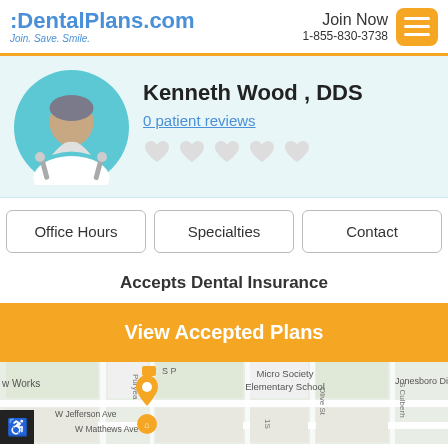:DentalPlans.com Join. Save. Smile. Join Now 1-855-830-3738
Kenneth Wood , DDS
0 patient reviews
Office Hours | Specialties | Contact
Accepts Dental Insurance
View Accepted Plans
[Figure (map): Street map showing area with Micro Society Elementary School, W Jefferson Ave, W Matthews Ave, Jonesboro District label, Olive St, Puryea street, landmarks and orange location pin marker]